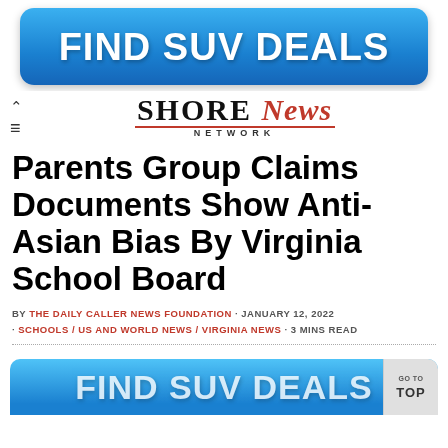[Figure (other): Blue rounded advertisement banner reading FIND SUV DEALS in large white bold text]
Shore News Network
Parents Group Claims Documents Show Anti-Asian Bias By Virginia School Board
BY THE DAILY CALLER NEWS FOUNDATION · JANUARY 12, 2022 · SCHOOLS / US AND WORLD NEWS / VIRGINIA NEWS · 3 MINS READ
[Figure (other): Blue advertisement banner at bottom of page, partially cut off, with GO TO TOP button on right side]